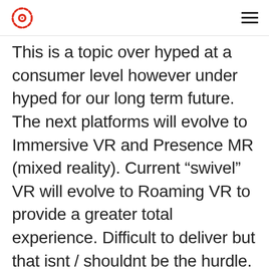[Logo] [Hamburger menu]
This is a topic over hyped at a consumer level however under hyped for our long term future. The next platforms will evolve to Immersive VR and Presence MR (mixed reality). Current “swivel” VR will evolve to Roaming VR to provide a greater total experience. Difficult to deliver but that isnt / shouldnt be the hurdle. A “felt” experience will make VR